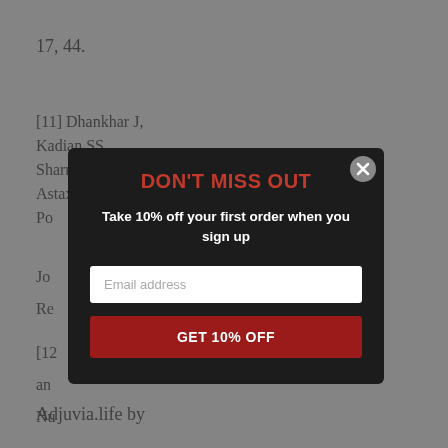17, 44.
[11] Dhankhar J, Kadian SS, Sharma A. Astaxanthin: A Po
Jo
Re
[12
an
Nu
Adjuvia.life by
[Figure (screenshot): Modal popup overlay on a webpage with dark background. Title reads 'DON'T MISS OUT' in red bold text. Subtitle reads 'Take 10% off your first order when you sign up'. Contains an email address input field with placeholder text 'Email address' and a red button labeled 'GET 10% OFF'. A close button (X) is in the top-right corner of the modal.]